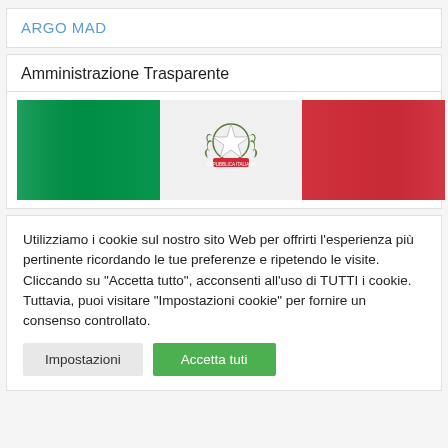ARGO MAD
Amministrazione Trasparente
[Figure (illustration): Italian national flag with the emblem of Italy (star and laurel wreath with REPUBBLICA ITALIANA ribbon) in the center, showing green, white, and red vertical stripes.]
Utilizziamo i cookie sul nostro sito Web per offrirti l'esperienza più pertinente ricordando le tue preferenze e ripetendo le visite. Cliccando su "Accetta tutto", acconsenti all'uso di TUTTI i cookie. Tuttavia, puoi visitare "Impostazioni cookie" per fornire un consenso controllato.
Impostazioni
Accetta tuti